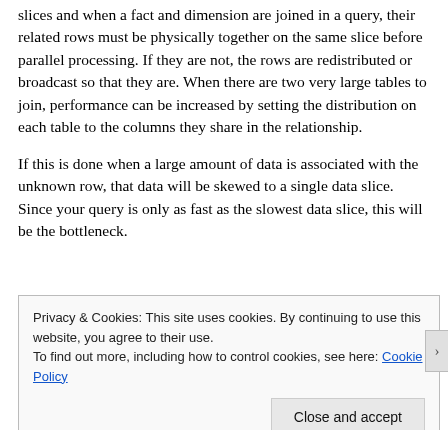slices and when a fact and dimension are joined in a query, their related rows must be physically together on the same slice before parallel processing. If they are not, the rows are redistributed or broadcast so that they are. When there are two very large tables to join, performance can be increased by setting the distribution on each table to the columns they share in the relationship.
If this is done when a large amount of data is associated with the unknown row, that data will be skewed to a single data slice. Since your query is only as fast as the slowest data slice, this will be the bottleneck.
Privacy & Cookies: This site uses cookies. By continuing to use this website, you agree to their use.
To find out more, including how to control cookies, see here: Cookie Policy